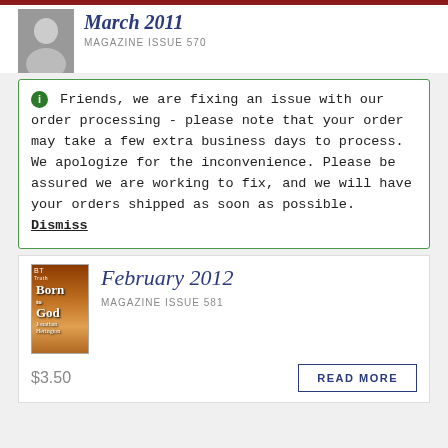March 2011
MAGAZINE ISSUE 570
Friends, we are fixing an issue with our order processing - please note that your order may take a few extra business days to process. We apologize for the inconvenience. Please be assured we are working to fix, and we will have your orders shipped as soon as possible. Dismiss
February 2012
MAGAZINE ISSUE 581
$3.50
READ MORE
Store